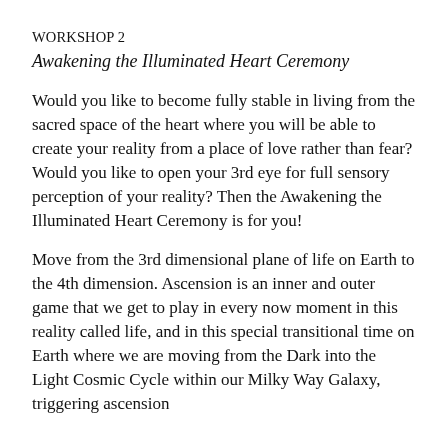WORKSHOP 2
Awakening the Illuminated Heart Ceremony
Would you like to become fully stable in living from the sacred space of the heart where you will be able to create your reality from a place of love rather than fear? Would you like to open your 3rd eye for full sensory perception of your reality? Then the Awakening the Illuminated Heart Ceremony is for you!
Move from the 3rd dimensional plane of life on Earth to the 4th dimension. Ascension is an inner and outer game that we get to play in every now moment in this reality called life, and in this special transitional time on Earth where we are moving from the Dark into the Light Cosmic Cycle within our Milky Way Galaxy, triggering ascension